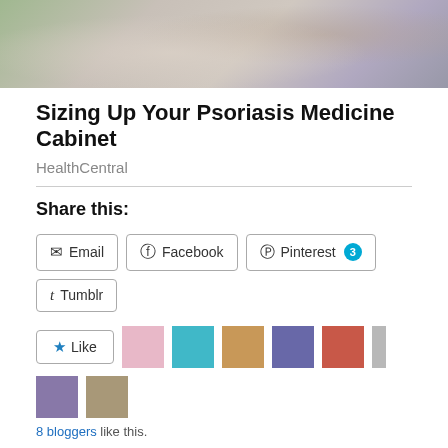[Figure (photo): Top banner photo of a person in jeans and plaid shirt, partially cropped]
Sizing Up Your Psoriasis Medicine Cabinet
HealthCentral
Share this:
Email  Facebook  Pinterest 3  Tumblr
Like  [8 blogger avatars]
8 bloggers like this.
Privacy & Cookies: This site uses cookies. By continuing to use this website, you agree to their use.
To find out more, including how to control cookies, see here: Cookie Policy
Close and accept